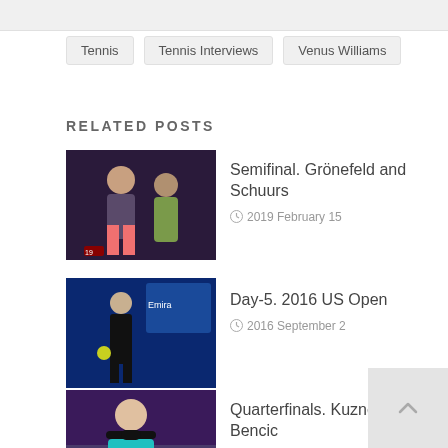Tennis
Tennis Interviews
Venus Williams
RELATED POSTS
[Figure (photo): Tennis player in pink shorts with another person at a court event]
Semifinal. Grönefeld and Schuurs
2019 February 15
[Figure (photo): Tennis player in black outfit on blue court, Emirates branding visible]
Day-5. 2016 US Open
2016 September 2
[Figure (photo): Female tennis player with headband in teal outfit]
Quarterfinals. Kuznetsova def Bencic
2020 February 27
[Figure (photo): Rio 2016 stadium scene with crowd]
Rio 2016: Day-7. Nadal wins another Gold
2016 August 12